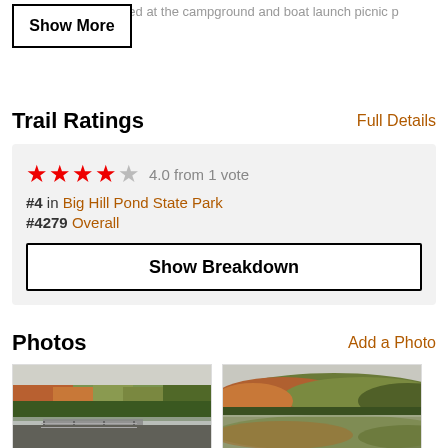Restrooms are located at the campground and boat launch picnic p...
Show More
Trail Ratings
Full Details
4.0 from 1 vote
#4 in Big Hill Pond State Park
#4279 Overall
Show Breakdown
Photos
Add a Photo
[Figure (photo): Dock on a lake surrounded by autumn foliage trees with mist on water]
[Figure (photo): Forested island reflected in calm lake water during autumn]